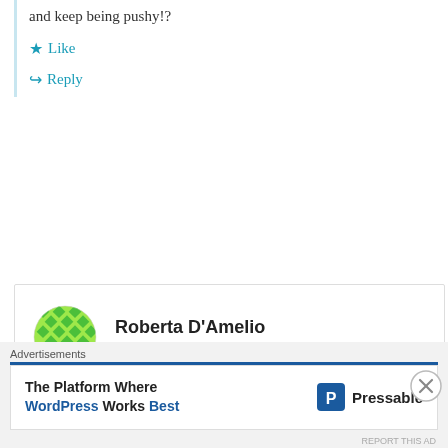and keep being pushy!?
Like
Reply
Roberta D'Amelio
May 30, 2019 at 5:15 pm
To all the worries patience and parents of …. HOW CAN WE FIX THIS PROBLEM WITH DEXCOM? Who's
Advertisements
[Figure (infographic): Pressable advertisement: The Platform Where WordPress Works Best]
REPORT THIS AD